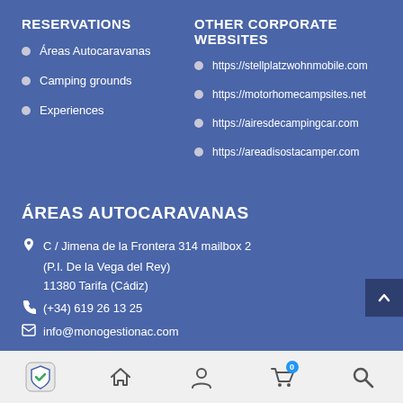RESERVATIONS
OTHER CORPORATE WEBSITES
Áreas Autocaravanas
https://stellplatzwohnmobile.com
Camping grounds
https://motorhomecampsites.net
Experiences
https://airesdecampingcar.com
https://areadisostacamper.com
ÁREAS AUTOCARAVANAS
C / Jimena de la Frontera 314 mailbox 2
(P.I. De la Vega del Rey)
11380 Tarifa (Cádiz)
(+34) 619 26 13 25
info@monogestionac.com